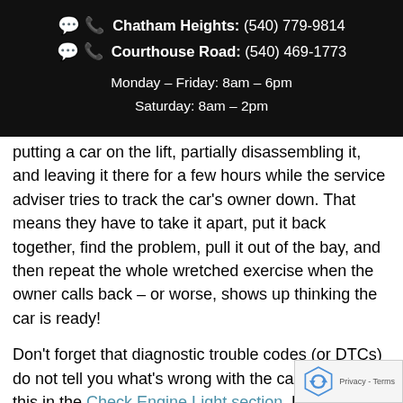Chatham Heights: (540) 779-9814 | Courthouse Road: (540) 469-1773 | Monday – Friday: 8am – 6pm | Saturday: 8am – 2pm
putting a car on the lift, partially disassembling it, and leaving it there for a few hours while the service adviser tries to track the car's owner down. That means they have to take it apart, put it back together, find the problem, pull it out of the bay, and then repeat the whole wretched exercise when the owner calls back – or worse, shows up thinking the car is ready!
Don't forget that diagnostic trouble codes (or DTCs) do not tell you what's wrong with the car. I discuss this in the Check Engine Light section, but it bears repeating because it's such a common misconception. Each DTC has a unique diagnostic procedure, or set of tests associated with it. When you need to bring in